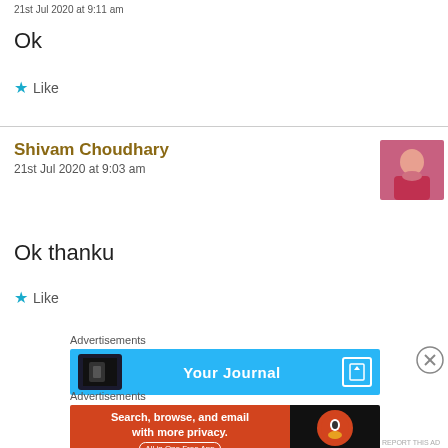21st Jul 2020 at 9:11 am
Ok
★ Like
Shivam Choudhary
21st Jul 2020 at 9:03 am
[Figure (photo): Avatar photo of Shivam Choudhary, a man in a red shirt]
Ok thanku
★ Like
Advertisements
[Figure (screenshot): Advertisement banner: Your Journal with bookmark icon on blue background]
Advertisements
[Figure (screenshot): DuckDuckGo advertisement: Search, browse, and email with more privacy. All in One Free App]